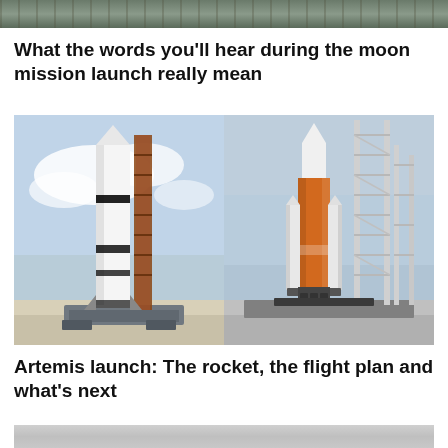[Figure (photo): Partial top strip of an outdoor/structural photo, cropped at the top of the page]
What the words you'll hear during the moon mission launch really mean
[Figure (photo): Side-by-side comparison of two rockets on launch pads: left shows Saturn V (Apollo era) white and black rocket on crawler, right shows SLS/Artemis orange and white rocket on launch pad with scaffolding]
Artemis launch: The rocket, the flight plan and what's next
[Figure (photo): Partial bottom strip of a photo, cropped at the bottom of the page, showing a light gray/white surface]